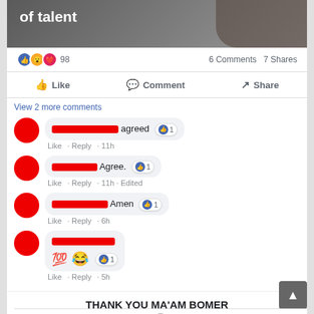[Figure (screenshot): Top portion of a social media post showing partial image with text 'of talent']
98  6 Comments  7 Shares
Like  Comment  Share
View 2 more comments
[redacted] agreed  Like · Reply · 11h  👍 1
[redacted] Agree.  👍 1  Like · Reply · 11h · Edited
[redacted] Amen 👍 1  Like · Reply · 6h
[redacted]  💯😂  👍 1  Like · Reply · 5h
THANK YOU MA'AM BOMER
https://ift.tt/2Uh6fmG